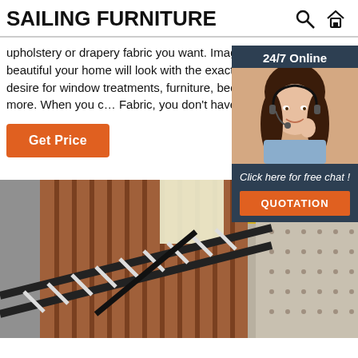SAILING FURNITURE
upholstery or drapery fabric you want. Imagine how beautiful your home will look with the exact fabrics you desire for window treatments, furniture, bedding and more. When you c… Fabric, you don't have to ...
Get Price
[Figure (photo): Customer service agent woman with headset smiling, with '24/7 Online' header, 'Click here for free chat!' text, and 'QUOTATION' button on dark navy background sidebar widget]
[Figure (photo): Bedroom scene showing a metal bed frame with slats being assembled, with a tufted upholstered headboard in the background and wood panel curtains]